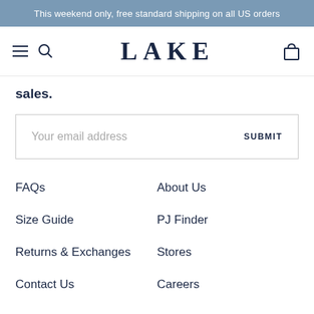This weekend only, free standard shipping on all US orders
[Figure (logo): LAKE brand logo with hamburger menu, search icon, and cart icon]
sales.
Your email address  SUBMIT
FAQs
About Us
Size Guide
PJ Finder
Returns & Exchanges
Stores
Contact Us
Careers